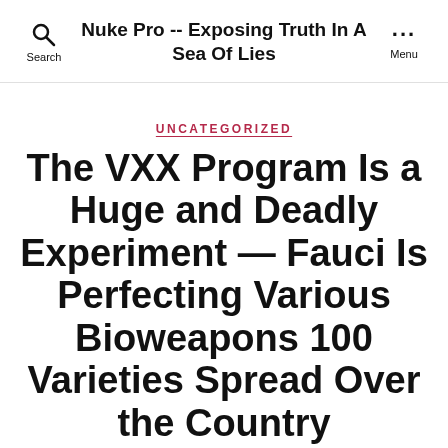Nuke Pro -- Exposing Truth In A Sea Of Lies
UNCATEGORIZED
The VXX Program Is a Huge and Deadly Experiment — Fauci Is Perfecting Various Bioweapons 100 Varieties Spread Over the Country